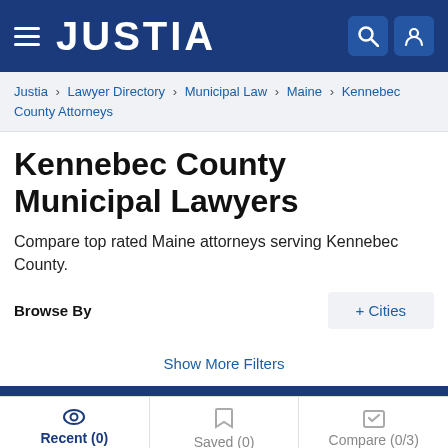JUSTIA
Justia > Lawyer Directory > Municipal Law > Maine > Kennebec County Attorneys
Kennebec County Municipal Lawyers
Compare top rated Maine attorneys serving Kennebec County.
Browse By
+ Cities
Show More Filters
Recent (0)   Saved (0)   Compare (0/3)